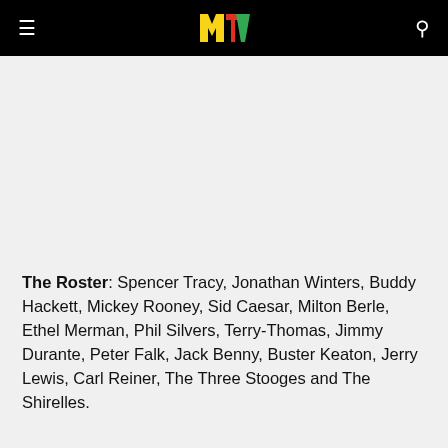MTV logo header with hamburger menu and search icon
The Roster: Spencer Tracy, Jonathan Winters, Buddy Hackett, Mickey Rooney, Sid Caesar, Milton Berle, Ethel Merman, Phil Silvers, Terry-Thomas, Jimmy Durante, Peter Falk, Jack Benny, Buster Keaton, Jerry Lewis, Carl Reiner, The Three Stooges and The Shirelles.